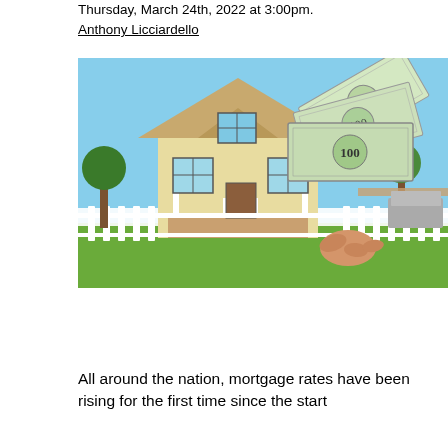Thursday, March 24th, 2022 at 3:00pm. Anthony Licciardello
[Figure (photo): A hand holding several US $100 bills fanned out in front of a yellow two-story house with a white picket fence and blue sky in the background.]
All around the nation, mortgage rates have been rising for the first time since the start